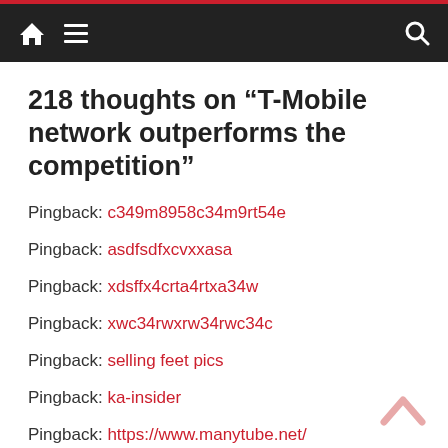Navigation bar with home, menu, and search icons
218 thoughts on “T-Mobile network outperforms the competition”
Pingback: c349m8958c34m9rt54e
Pingback: asdfsdfxcvxxasa
Pingback: xdsffx4crta4rtxa34w
Pingback: xwc34rwxrw34rwc34c
Pingback: selling feet pics
Pingback: ka-insider
Pingback: https://www.manytube.net/